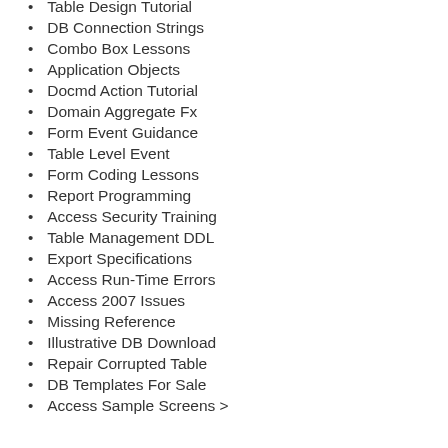Table Design Tutorial
DB Connection Strings
Combo Box Lessons
Application Objects
Docmd Action Tutorial
Domain Aggregate Fx
Form Event Guidance
Table Level Event
Form Coding Lessons
Report Programming
Access Security Training
Table Management DDL
Export Specifications
Access Run-Time Errors
Access 2007 Issues
Missing Reference
Illustrative DB Download
Repair Corrupted Table
DB Templates For Sale
Access Sample Screens >